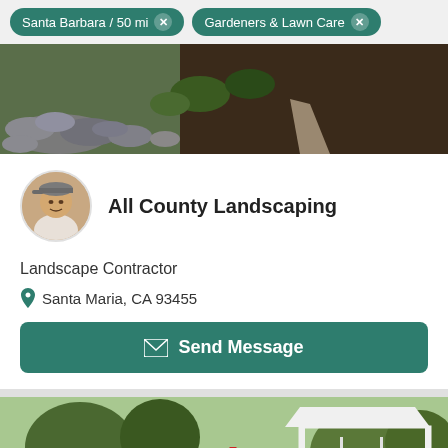Santa Barbara / 50 mi × | Gardeners & Lawn Care ×
[Figure (photo): Landscape photo showing a garden path with dark mulch, decorative rocks/boulders on the left, and shrubs]
[Figure (photo): Profile avatar photo of a man wearing a cap]
All County Landscaping
Landscape Contractor
Santa Maria, CA 93455
Send Message
[Figure (photo): Garden landscape photo showing a white picket fence, gazebo, birdbath fountain, flowering plants, and trees. Shows counter 1/1 in bottom right.]